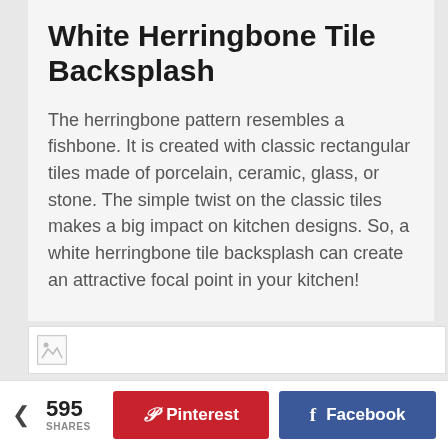White Herringbone Tile Backsplash
The herringbone pattern resembles a fishbone. It is created with classic rectangular tiles made of porcelain, ceramic, glass, or stone. The simple twist on the classic tiles makes a big impact on kitchen designs. So, a white herringbone tile backsplash can create an attractive focal point in your kitchen!
[Figure (photo): Broken image placeholder for a photo of a white herringbone tile backsplash]
595 SHARES
Pinterest
Facebook